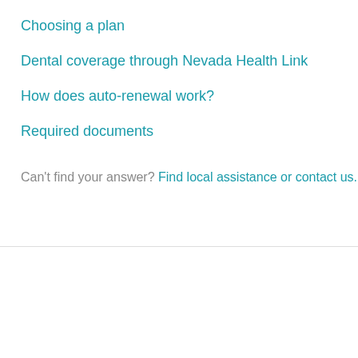Choosing a plan
Dental coverage through Nevada Health Link
How does auto-renewal work?
Required documents
Can't find your answer? Find local assistance or contact us.